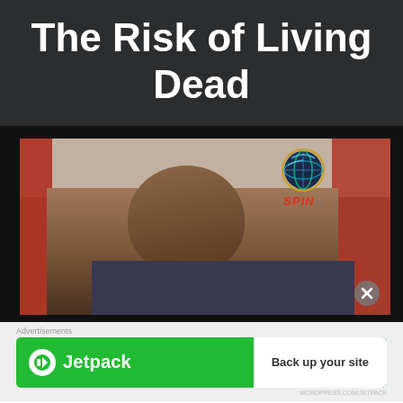The Risk of Living Dead
[Figure (screenshot): Video thumbnail showing a man being interviewed on what appears to be a TV show, with red vertical banners/flags in the background and a SPIN TV channel logo watermark in the upper right corner.]
Advertisements
[Figure (screenshot): Jetpack advertisement banner with green background, Jetpack logo on the left and a white 'Back up your site' button on the right.]